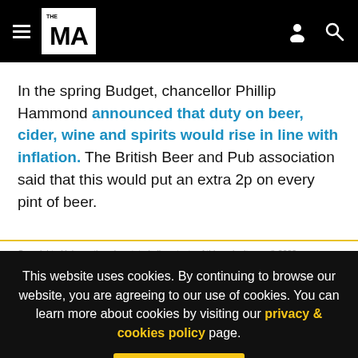THE MA (navigation header with hamburger menu, logo, user icon, search icon)
In the spring Budget, chancellor Phillip Hammond announced that duty on beer, cider, wine and spirits would rise in line with inflation. The British Beer and Pub association said that this would put an extra 2p on every pint of beer.
Copyright - Unless otherwise stated all contents of this web site are © 2022
This website uses cookies. By continuing to browse our website, you are agreeing to our use of cookies. You can learn more about cookies by visiting our privacy & cookies policy page.
I Agree